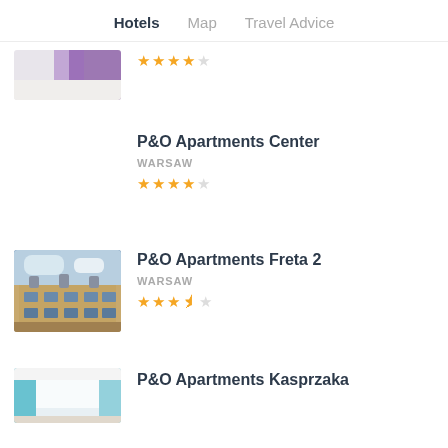Hotels  Map  Travel Advice
[Figure (photo): Partially visible hotel room image with purple accents]
★★★★☆ (star rating)
P&O Apartments Center
WARSAW
★★★★☆ (4 out of 5 stars)
[Figure (photo): Exterior photo of historic Warsaw building with multiple floors and dormer windows]
P&O Apartments Freta 2
WARSAW
★★★½☆ (3.5 out of 5 stars)
[Figure (photo): Interior photo of apartment with teal/blue curtains]
P&O Apartments Kasprzaka